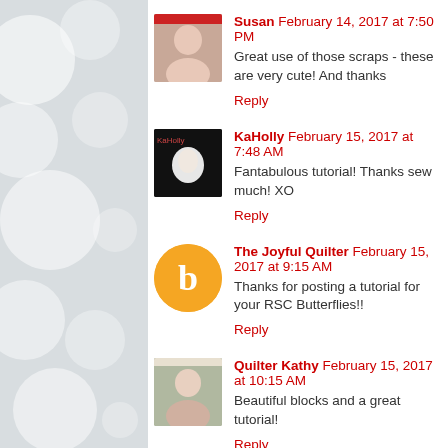[Figure (other): Decorative blurred bokeh background on the left side panel]
Susan   February 14, 2017 at 7:50 PM
Great use of those scraps - these are very cute! And thanks
Reply
KaHolly   February 15, 2017 at 7:48 AM
Fantabulous tutorial! Thanks sew much! XO
Reply
The Joyful Quilter   February 15, 2017 at 9:15 AM
Thanks for posting a tutorial for your RSC Butterflies!!
Reply
Quilter Kathy   February 15, 2017 at 10:15 AM
Beautiful blocks and a great tutorial!
Reply